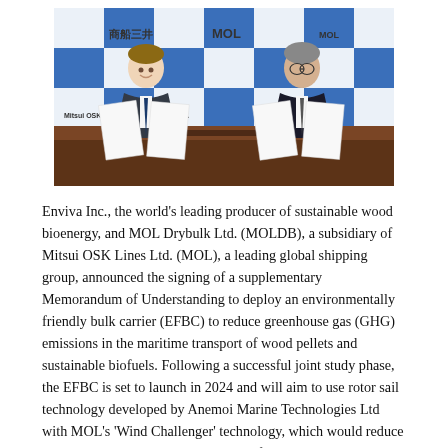[Figure (photo): Two men in suits sitting at a table in front of a blue and white MOL / Mitsui OSK Lines branded backdrop, each holding open documents they have just signed.]
Enviva Inc., the world's leading producer of sustainable wood bioenergy, and MOL Drybulk Ltd. (MOLDB), a subsidiary of Mitsui OSK Lines Ltd. (MOL), a leading global shipping group, announced the signing of a supplementary Memorandum of Understanding to deploy an environmentally friendly bulk carrier (EFBC) to reduce greenhouse gas (GHG) emissions in the maritime transport of wood pellets and sustainable biofuels. Following a successful joint study phase, the EFBC is set to launch in 2024 and will aim to use rotor sail technology developed by Anemoi Marine Technologies Ltd with MOL's 'Wind Challenger' technology, which would reduce emissions by harnessing wind power, for an average expected GHG